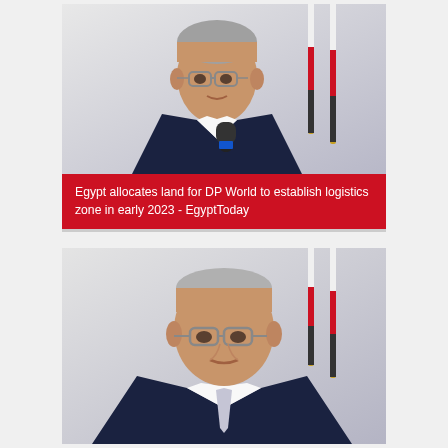[Figure (photo): Older man in dark blue suit with light tie speaking into a microphone, Egyptian flags visible in background]
Egypt allocates land for DP World to establish logistics zone in early 2023 - EgyptToday
[Figure (photo): Same older man in dark blue suit, closer crop showing face and shoulders, Egyptian flags in background]